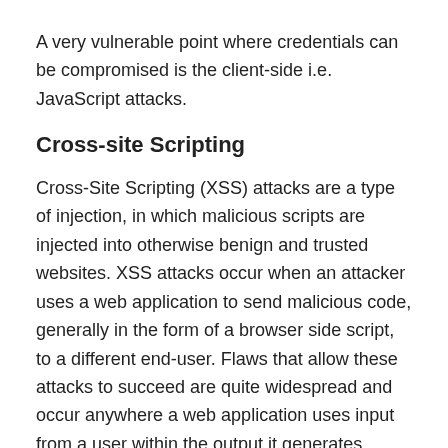A very vulnerable point where credentials can be compromised is the client-side i.e. JavaScript attacks.
Cross-site Scripting
Cross-Site Scripting (XSS) attacks are a type of injection, in which malicious scripts are injected into otherwise benign and trusted websites. XSS attacks occur when an attacker uses a web application to send malicious code, generally in the form of a browser side script, to a different end-user. Flaws that allow these attacks to succeed are quite widespread and occur anywhere a web application uses input from a user within the output it generates without validating or encoding it.
Some recommendations to prevent this type of attacks